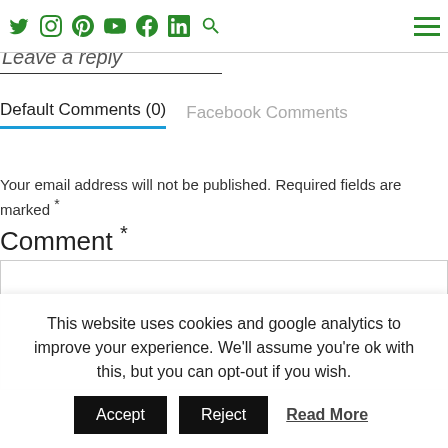Social icons and navigation menu
Leave a reply
Default Comments (0)   Facebook Comments
Your email address will not be published. Required fields are marked *
Comment *
This website uses cookies and google analytics to improve your experience. We'll assume you're ok with this, but you can opt-out if you wish.
Accept  Reject  Read More